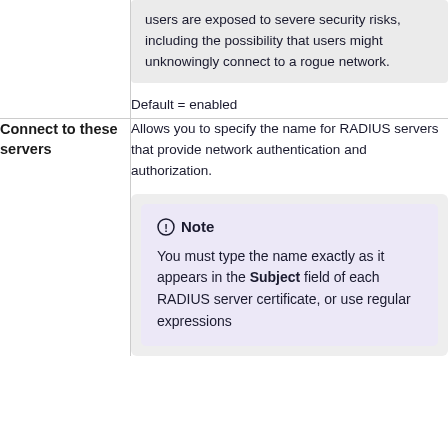users are exposed to severe security risks, including the possibility that users might unknowingly connect to a rogue network.
Default = enabled
Connect to these servers
Allows you to specify the name for RADIUS servers that provide network authentication and authorization.
Note
You must type the name exactly as it appears in the Subject field of each RADIUS server certificate, or use regular expressions